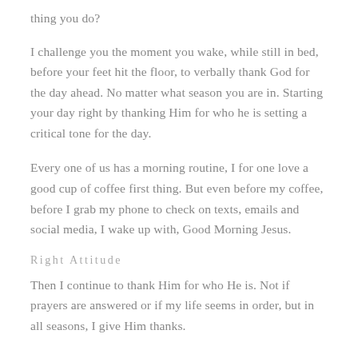thing you do?
I challenge you the moment you wake, while still in bed, before your feet hit the floor, to verbally thank God for the day ahead. No matter what season you are in. Starting your day right by thanking Him for who he is setting a critical tone for the day.
Every one of us has a morning routine, I for one love a good cup of coffee first thing. But even before my coffee, before I grab my phone to check on texts, emails and social media, I wake up with, Good Morning Jesus.
Right Attitude
Then I continue to thank Him for who He is. Not if prayers are answered or if my life seems in order, but in all seasons, I give Him thanks.